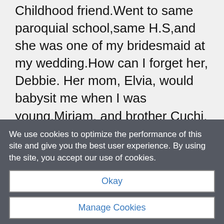Childhood friend.Went to same paroquial school,same H.S,and she was one of my bridesmaid at my wedding.How can I forget her, Debbie. Her mom, Elvia, would babysit me when I was young.Miriam, and brother Cuchi, as I knew him, were always there. After H.S we went our separate ways, but still kept in touch over the yrs.After 6yrs, my husband I moved to PR.We wrote to each other,and once in awhile I would give her a
We use cookies to optimize the performance of this site and give you the best user experience. By using the site, you accept our use of cookies.
Okay
Manage Cookies